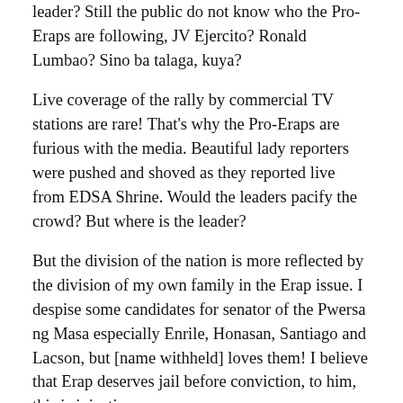leader? Still the public do not know who the Pro-Eraps are following, JV Ejercito? Ronald Lumbao? Sino ba talaga, kuya?
Live coverage of the rally by commercial TV stations are rare! That's why the Pro-Eraps are furious with the media. Beautiful lady reporters were pushed and shoved as they reported live from EDSA Shrine. Would the leaders pacify the crowd? But where is the leader?
But the division of the nation is more reflected by the division of my own family in the Erap issue. I despise some candidates for senator of the Pwersa ng Masa especially Enrile, Honasan, Santiago and Lacson, but [name withheld] loves them! I believe that Erap deserves jail before conviction, to him, this is injustice.
Erap not only divided his nation, but he also divided the